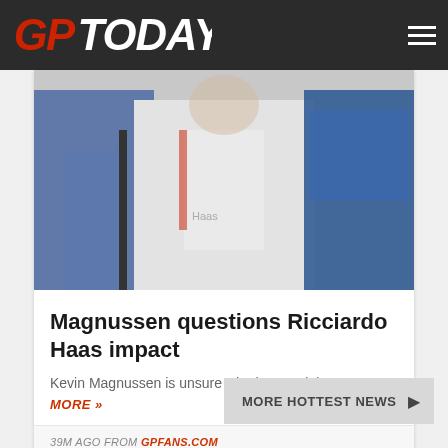GP Today
[Figure (photo): Formula 1 pit lane or paddock scene showing a racing driver in a white Haas racing suit flanked by two people, one in a blue jacket on the right and one in a blue shirt on the left]
Magnussen questions Ricciardo Haas impact
Kevin Magnussen is unsure whether Daniel... READ MORE »
39M AGO FROM GPFANS.COM
MORE HOTTEST NEWS ▶